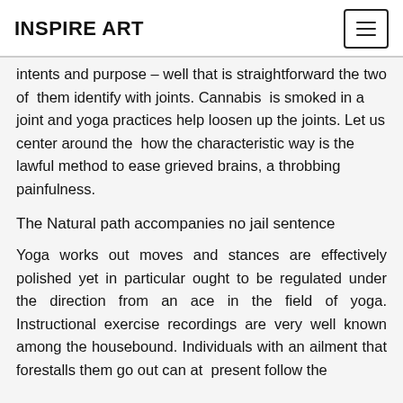INSPIRE ART
intents and purpose – well that is straightforward the two of them identify with joints. Cannabis is smoked in a joint and yoga practices help loosen up the joints. Let us center around the how the characteristic way is the lawful method to ease grieved brains, a throbbing painfulness.
The Natural path accompanies no jail sentence
Yoga works out moves and stances are effectively polished yet in particular ought to be regulated under the direction from an ace in the field of yoga. Instructional exercise recordings are very well known among the housebound. Individuals with an ailment that forestalls them go out can at present follow the